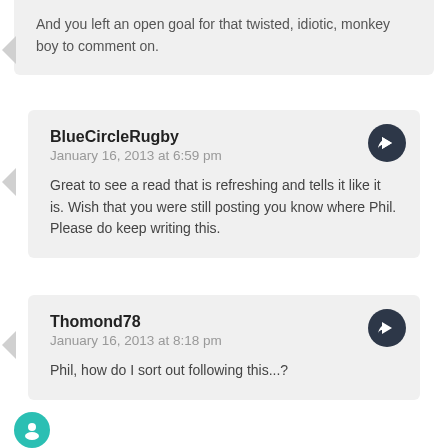And you left an open goal for that twisted, idiotic, monkey boy to comment on.
BlueCircleRugby
January 16, 2013 at 6:59 pm
Great to see a read that is refreshing and tells it like it is. Wish that you were still posting you know where Phil. Please do keep writing this.
Thomond78
January 16, 2013 at 8:18 pm
Phil, how do I sort out following this...?